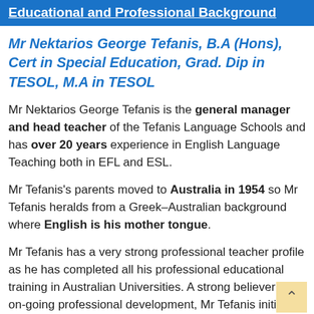Educational and Professional Background
Mr Nektarios George Tefanis, B.A (Hons), Cert in Special Education, Grad. Dip in TESOL, M.A in TESOL
Mr Nektarios George Tefanis is the general manager and head teacher of the Tefanis Language Schools and has over 20 years experience in English Language Teaching both in EFL and ESL.
Mr Tefanis's parents moved to Australia in 1954 so Mr Tefanis heralds from a Greek-Australian background where English is his mother tongue.
Mr Tefanis has a very strong professional teacher profile as he has completed all his professional educational training in Australian Universities. A strong believer in on-going professional development, Mr Tefanis initially completed his Bachelor of Arts (Honours) at the University of New South Wales...